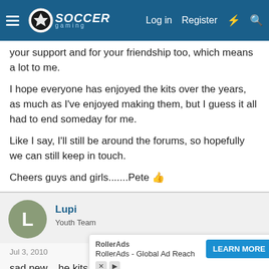Soccer Gaming - Navigation bar with Log in, Register
your support and for your friendship too, which means a lot to me.

I hope everyone has enjoyed the kits over the years, as much as I've enjoyed making them, but I guess it all had to end someday for me.

Like I say, I'll still be around the forums, so hopefully we can still keep in touch.

Cheers guys and girls.......Pete 👍
Lupi
Youth Team
Jul 3, 2010
sad new... he kits